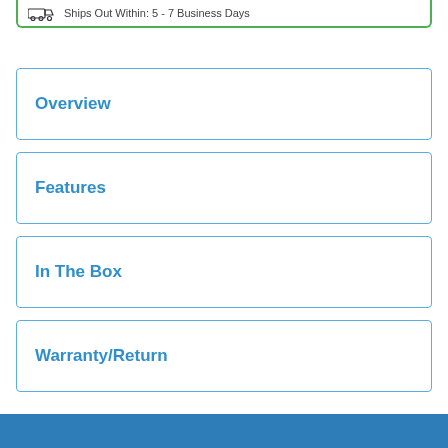Ships Out Within: 5 - 7 Business Days
Overview
Features
In The Box
Warranty/Return